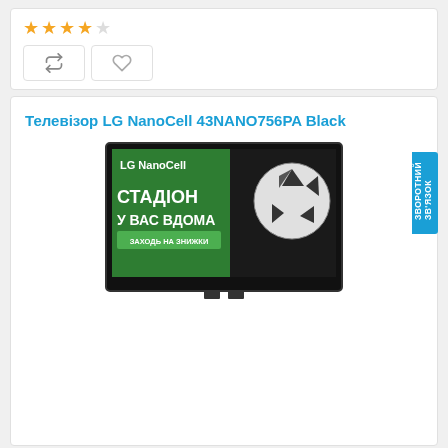[Figure (other): Star rating with 4 filled gold stars and 1 empty star]
[Figure (other): Two action buttons: compare (arrows icon) and wishlist (heart icon)]
Телевізор LG NanoCell 43NANO756PA Black
[Figure (screenshot): LG NanoCell TV product image showing a TV displaying an LG NanoCell advertisement with football/soccer ball and Ukrainian text: СТАДІОН У ВАС ВДОМА, ЗАХОДЬ НА ЗНИЖКИ]
ЗВОРОТНИЙ ЗВ'ЯЗОК (sidebar tab)